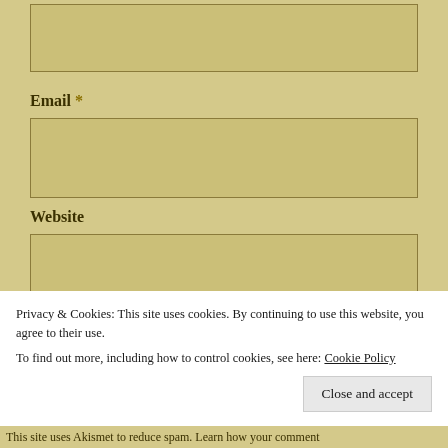[Figure (screenshot): A text input field (top of page, partially visible) on a tan/khaki background]
Email *
[Figure (screenshot): Email input text field on tan background]
Website
[Figure (screenshot): Website input text field on tan background]
Post Comment
Privacy & Cookies: This site uses cookies. By continuing to use this website, you agree to their use.
To find out more, including how to control cookies, see here: Cookie Policy
Close and accept
This site uses Akismet to reduce spam. Learn how your comment